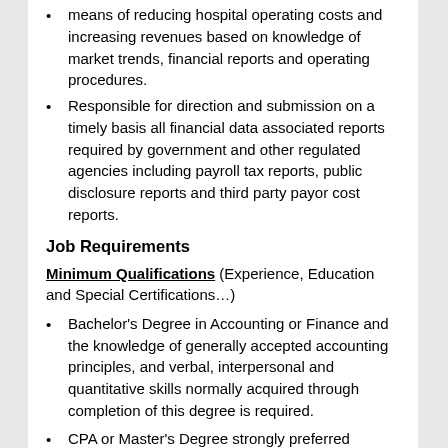means of reducing hospital operating costs and increasing revenues based on knowledge of market trends, financial reports and operating procedures.
Responsible for direction and submission on a timely basis all financial data associated reports required by government and other regulated agencies including payroll tax reports, public disclosure reports and third party payor cost reports.
Job Requirements
Minimum Qualifications (Experience, Education and Special Certifications…)
Bachelor's Degree in Accounting or Finance and the knowledge of generally accepted accounting principles, and verbal, interpersonal and quantitative skills normally acquired through completion of this degree is required.
CPA or Master's Degree strongly preferred